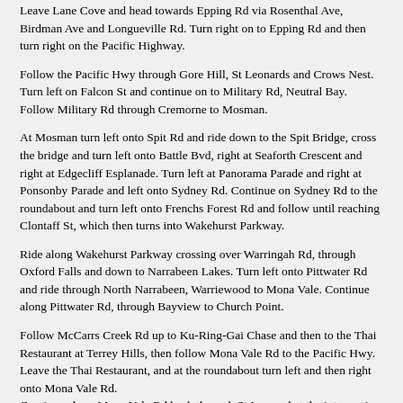Leave Lane Cove and head towards Epping Rd via Rosenthal Ave, Birdman Ave and Longueville Rd. Turn right on to Epping Rd and then turn right on the Pacific Highway.
Follow the Pacific Hwy through Gore Hill, St Leonards and Crows Nest. Turn left on Falcon St and continue on to Military Rd, Neutral Bay. Follow Military Rd through Cremorne to Mosman.
At Mosman turn left onto Spit Rd and ride down to the Spit Bridge, cross the bridge and turn left onto Battle Bvd, right at Seaforth Crescent and right at Edgecliff Esplanade. Turn left at Panorama Parade and right at Ponsonby Parade and left onto Sydney Rd. Continue on Sydney Rd to the roundabout and turn left onto Frenchs Forest Rd and follow until reaching Clontaff St, which then turns into Wakehurst Parkway.
Ride along Wakehurst Parkway crossing over Warringah Rd, through Oxford Falls and down to Narrabeen Lakes. Turn left onto Pittwater Rd and ride through North Narrabeen, Warriewood to Mona Vale. Continue along Pittwater Rd, through Bayview to Church Point.
Follow McCarrs Creek Rd up to Ku-Ring-Gai Chase and then to the Thai Restaurant at Terrey Hills, then follow Mona Vale Rd to the Pacific Hwy. Leave the Thai Restaurant, and at the roundabout turn left and then right onto Mona Vale Rd.
Continue along Mona Vale Rd back through St Ives and at the intersection with the Pacific Highway, turn left and follow the Pacific Highway back through Gordon, Killara, Lindfield, Roseville and Chatswood.